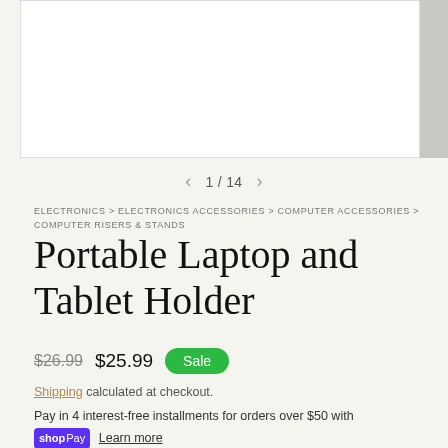[Figure (photo): Product image area showing a white box with a partial product image on the right edge]
1 / 14
ELECTRONICS > ELECTRONICS ACCESSORIES > COMPUTER ACCESSORIES > COMPUTER RISERS & STANDS
Portable Laptop and Tablet Holder
$26.99  $25.99  Sale
Shipping calculated at checkout.
Pay in 4 interest-free installments for orders over $50 with shopPay Learn more
Quantity